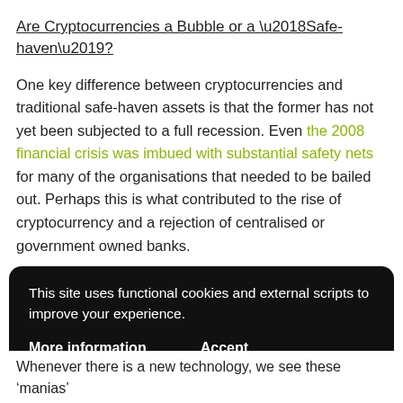Are Cryptocurrencies a Bubble or a ‘Safe-haven’?
One key difference between cryptocurrencies and traditional safe-haven assets is that the former has not yet been subjected to a full recession. Even the 2008 financial crisis was imbued with substantial safety nets for many of the organisations that needed to be bailed out. Perhaps this is what contributed to the rise of cryptocurrency and a rejection of centralised or government owned banks.
As a cultural movement, cryptocurrencies represent a seismic cultural shift to a new form of radically
This site uses functional cookies and external scripts to improve your experience.
More information     Accept
Whenever there is a new technology, we see these ‘manias’